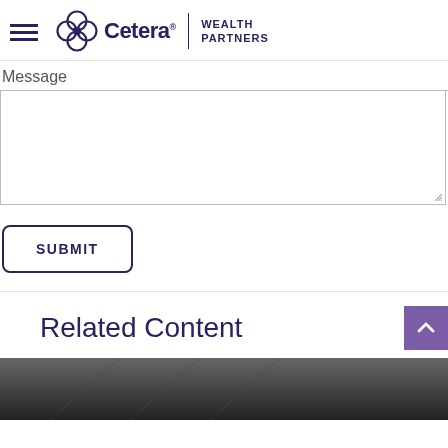Cetera Wealth Partners
Message
SUBMIT
Related Content
[Figure (photo): Dark background image at the bottom of the page, partially visible]